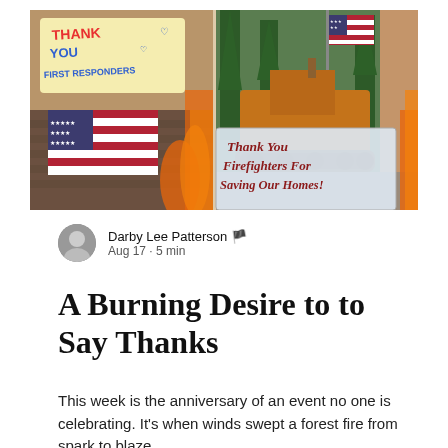[Figure (photo): Collage of wildfire-related images: a handwritten sign reading 'Thank You First Responders', an American flag with fire in the background, a bulldozer/tractor in a forest, and a banner reading 'Thank You Firefighters For Saving Our Homes!']
Darby Lee Patterson · Aug 17 · 5 min
A Burning Desire to to Say Thanks
This week is the anniversary of an event no one is celebrating. It's when winds swept a forest fire from spark to blaze